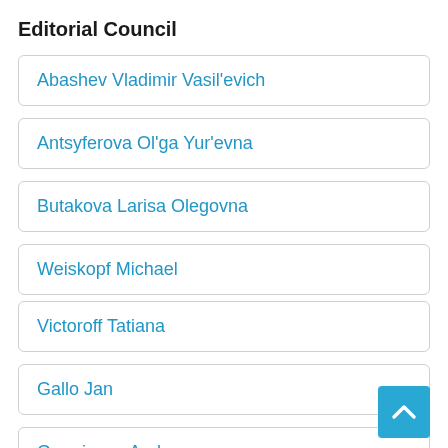Editorial Council
Abashev Vladimir Vasil'evich
Antsyferova Ol'ga Yur'evna
Butakova Larisa Olegovna
Weiskopf Michael
Victoroff Tatiana
Gallo Jan
Grominova Andrea